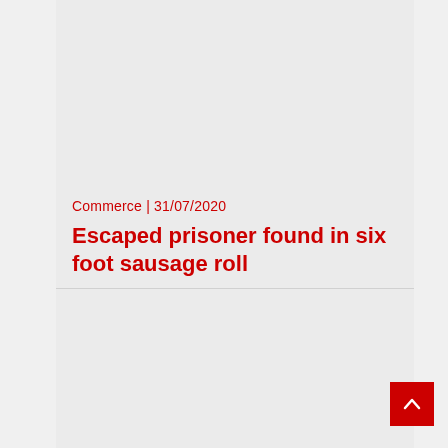Commerce | 31/07/2020
Escaped prisoner found in six foot sausage roll